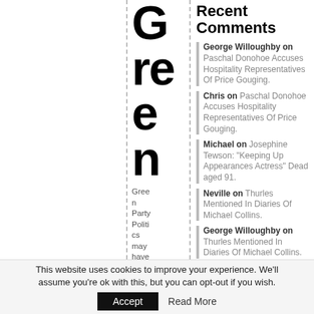Green
Green Party Politics may have vanished from Irish life,
Recent Comments
George Willoughby on Paschal Donohoe Accuses Hospitality Representatives Of Price Gouging.
Chris on Paschal Donohoe Accuses Hospitality Representatives Of Price Gouging.
Michael on Josephine Tewson: "Keeping Up Appearances Actress" Dead aged 91.
Neville on Thurles Mentioned In Diaries Of Michael Collins.
George Willoughby on Thurles Mentioned In Diaries Of Michael Collins.
This website uses cookies to improve your experience. We'll assume you're ok with this, but you can opt-out if you wish. Accept | Read More